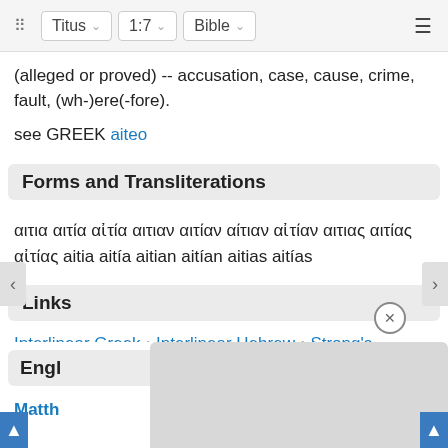Titus 1:7 | Bible
(alleged or proved) -- accusation, case, cause, crime, fault, (wh-)ere(-fore).
see GREEK aiteo
Forms and Transliterations
αιτια αιτία αἰτία αιτιαν αιτίαν αίτιαν αἰτίαν αιτιας αιτίας αἰτίας aitia aitía aitian aitían aitias aitías
Links
Interlinear Greek • Interlinear Hebrew • Strong's Numbers • Englishman's Greek Concordance • Englishman's Hebrew Concordance • Parallel Texts
Engl
Matth